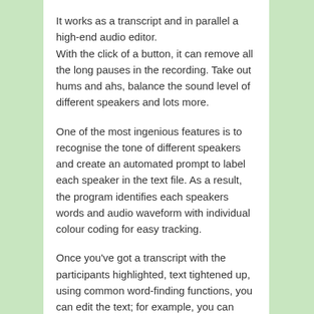It works as a transcript and in parallel a high-end audio editor.
With the click of a button, it can remove all the long pauses in the recording. Take out hums and ahs, balance the sound level of different speakers and lots more.
One of the most ingenious features is to recognise the tone of different speakers and create an automated prompt to label each speaker in the text file. As a result, the program identifies each speakers words and audio waveform with individual colour coding for easy tracking.
Once you've got a transcript with the participants highlighted, text tightened up, using common word-finding functions, you can edit the text; for example, you can remove the start and end of meeting preambles.
It is super quick to export a transcript in MS Word document style. You can select how much mark up detail of speakers, and the timing you require. This could either